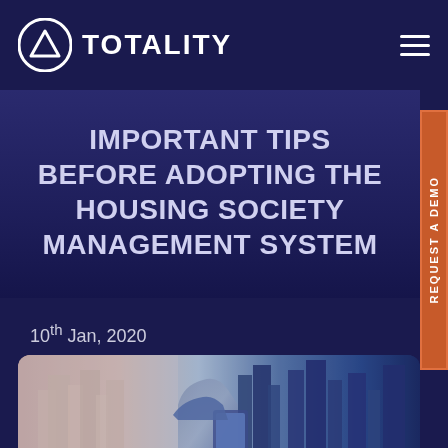TOTALITY
IMPORTANT TIPS BEFORE ADOPTING THE HOUSING SOCIETY MANAGEMENT SYSTEM
10th Jan, 2020
[Figure (photo): Double exposure photo showing city skyline buildings on left and a person's hand holding a tablet/phone on the right, with a cityscape overlay]